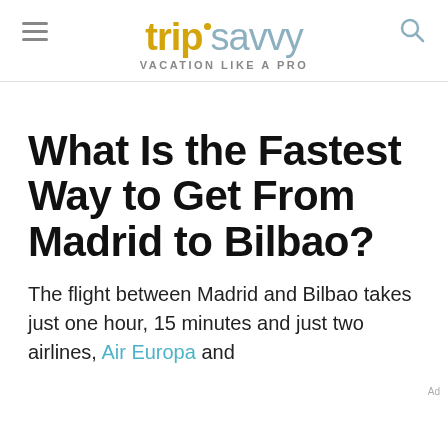trip savvy — VACATION LIKE A PRO
What Is the Fastest Way to Get From Madrid to Bilbao?
The flight between Madrid and Bilbao takes just one hour, 15 minutes and just two airlines, Air Europa and